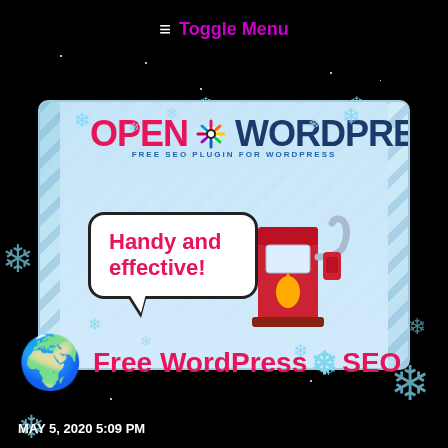≡ Toggle Menu
[Figure (illustration): OpenWordPressSEO banner with logo, speech bubble saying 'Handy and effective!', gas pump icon, snowflakes, and circuit board background]
Free WordPress SEO
MAY 5, 2020 5:09 PM